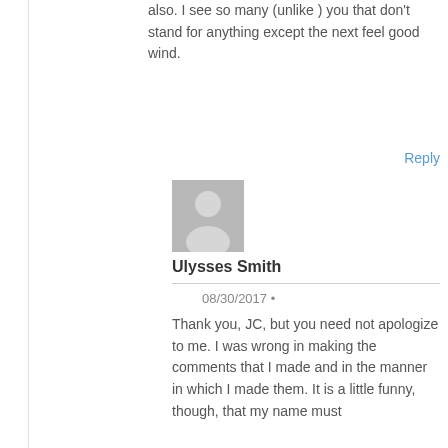also. I see so many (unlike ) you that don't stand for anything except the next feel good wind.
Reply
[Figure (illustration): Generic user avatar — gray silhouette of a person on a gray background]
Ulysses Smith
08/30/2017 •
Thank you, JC, but you need not apologize to me. I was wrong in making the comments that I made and in the manner in which I made them. It is a little funny, though, that my name must